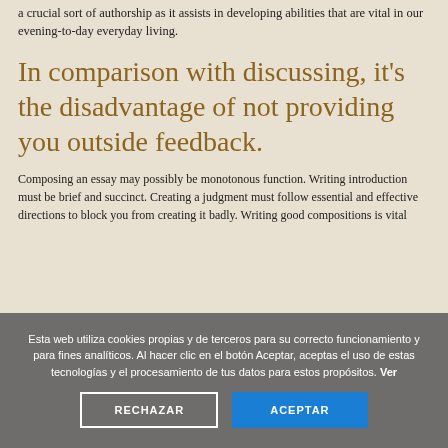a crucial sort of authorship as it assists in developing abilities that are vital in our evening-to-day everyday living.
In comparison with discussing, it’s the disadvantage of not providing you outside feedback.
Composing an essay may possibly be monotonous function. Writing introduction must be brief and succinct. Creating a judgment must follow essential and effective directions to block you from creating it badly. Writing good compositions is vital
Esta web utiliza cookies propias y de terceros para su correcto funcionamiento y para fines analíticos. Al hacer clic en el botón Aceptar, aceptas el uso de estas tecnologías y el procesamiento de tus datos para estos propósitos. Ver
RECHAZAR
ACEPTAR